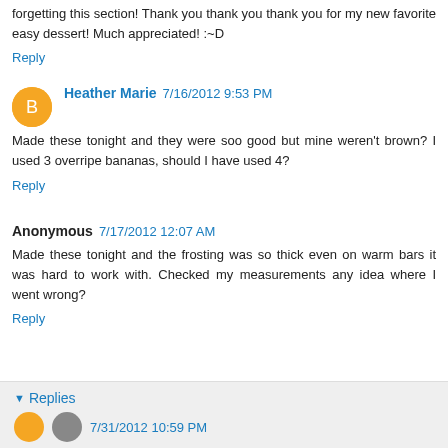forgetting this section! Thank you thank you thank you for my new favorite easy dessert! Much appreciated! :~D
Reply
Heather Marie 7/16/2012 9:53 PM
Made these tonight and they were soo good but mine weren't brown? I used 3 overripe bananas, should I have used 4?
Reply
Anonymous 7/17/2012 12:07 AM
Made these tonight and the frosting was so thick even on warm bars it was hard to work with. Checked my measurements any idea where I went wrong?
Reply
Replies
7/31/2012 10:59 PM